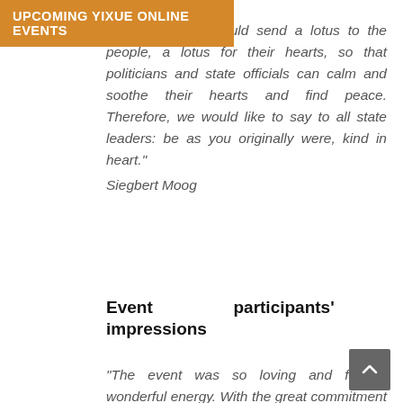UPCOMING YIXUE ONLINE EVENTS
has said, “We should send a lotus to the people, a lotus for their hearts, so that politicians and state officials can calm and soothe their hearts and find peace. Therefore, we would like to say to all state leaders: be as you originally were, kind in heart.” Siegbert Moog
Event participants’ impressions
“The event was so loving and full of wonderful energy. With the great commitment and love of